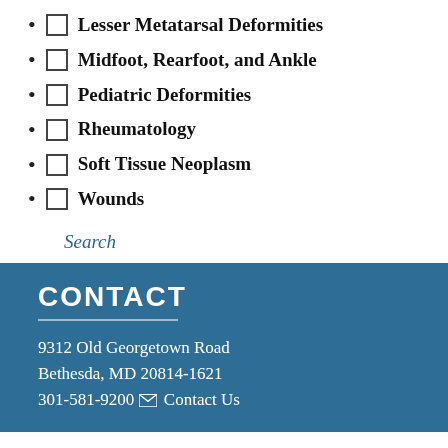☐ Lesser Metatarsal Deformities
☐ Midfoot, Rearfoot, and Ankle
☐ Pediatric Deformities
☐ Rheumatology
☐ Soft Tissue Neoplasm
☐ Wounds
Search
CONTACT
9312 Old Georgetown Road
Bethesda, MD 20814-1621
301-581-9200 ✉ Contact Us